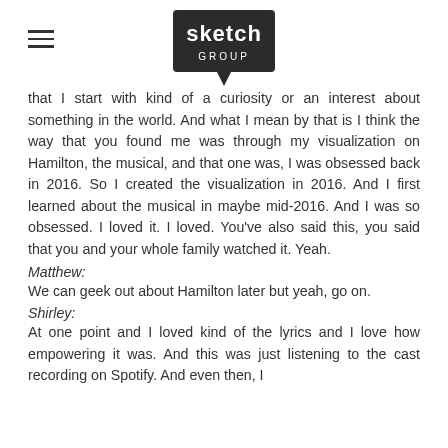sketch GROUP logo with hamburger menu
that I start with kind of a curiosity or an interest about something in the world. And what I mean by that is I think the way that you found me was through my visualization on Hamilton, the musical, and that one was, I was obsessed back in 2016. So I created the visualization in 2016. And I first learned about the musical in maybe mid-2016. And I was so obsessed. I loved it. I loved. You've also said this, you said that you and your whole family watched it. Yeah.
Matthew:
We can geek out about Hamilton later but yeah, go on.
Shirley:
At one point and I loved kind of the lyrics and I love how empowering it was. And this was just listening to the cast recording on Spotify. And even then, I